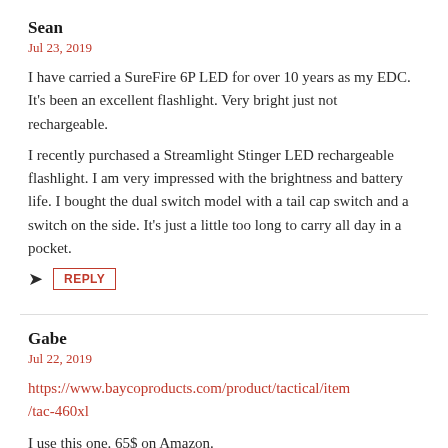Sean
Jul 23, 2019
I have carried a SureFire 6P LED for over 10 years as my EDC. It's been an excellent flashlight. Very bright just not rechargeable.
I recently purchased a Streamlight Stinger LED rechargeable flashlight. I am very impressed with the brightness and battery life. I bought the dual switch model with a tail cap switch and a switch on the side. It's just a little too long to carry all day in a pocket.
REPLY
Gabe
Jul 22, 2019
https://www.baycoproducts.com/product/tactical/item/tac-460xl
I use this one. 65$ on Amazon.